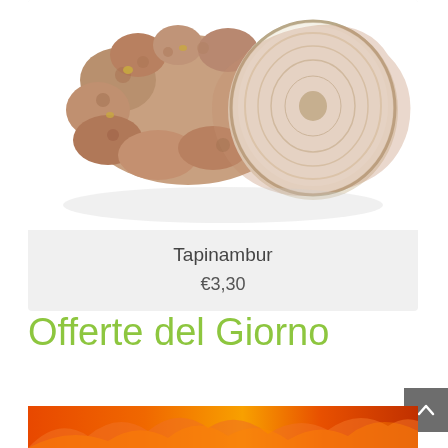[Figure (photo): Photo of Jerusalem artichoke (Tapinambur) tubers, some whole and one cut in half showing white interior, on white background]
Tapinambur
€3,30
Offerte del Giorno
[Figure (photo): Bottom partial image showing orange and red gradient colors, appears to be a food product photo]